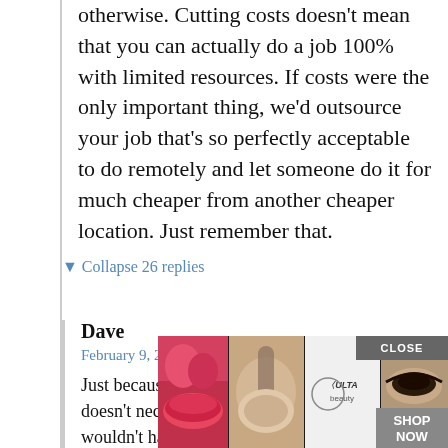otherwise. Cutting costs doesn't mean that you can actually do a job 100% with limited resources. If costs were the only important thing, we'd outsource your job that's so perfectly acceptable to do remotely and let someone do it for much cheaper from another cheaper location. Just remember that.
▼ Collapse 26 replies
Dave
February 9, 2021 at 3:16 pm
Just because it is a remote construction site doesn't necessarily mean a trip that in 2019 wouldn't have been a big deal couldn't be accommodated in a new way in 20... may re... bu ca... type
[Figure (photo): Advertisement overlay for Ulta Beauty showing makeup product imagery with CLOSE button and SHOP NOW button]